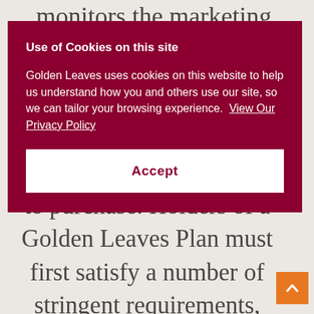monitors the marketing, financial
Use of Cookies on this site
Golden Leaves uses cookies on this website to help us understand how you and others use our site, so we can tailor your browsing experience. View Our Privacy Policy
Accept
to purchase. Holders of a Golden Leaves Plan must first satisfy a number of stringent requirements, including a demonstration of outstanding
[Figure (other): Orange scroll-to-top button arrow in bottom right corner]